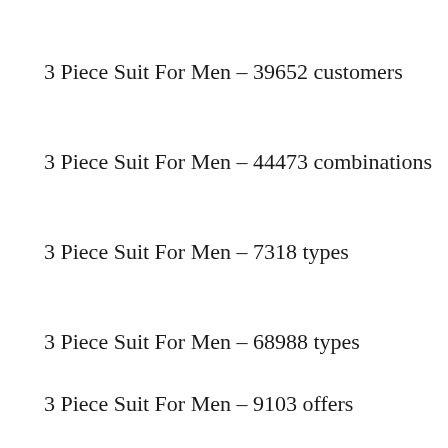3 Piece Suit For Men – 39652 customers
3 Piece Suit For Men – 44473 combinations
3 Piece Suit For Men – 7318 types
3 Piece Suit For Men – 68988 types
3 Piece Suit For Men – 9103 offers